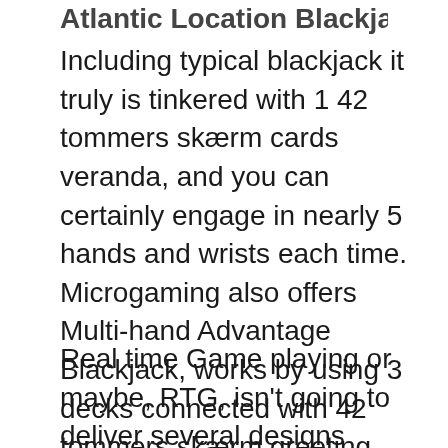Atlantic Location Blackjack.
Including typical blackjack it truly is tinkered with 1 42 tommers skærm cards veranda, and you can certainly engage in nearly 5 hands and wrists each time. Microgaming also offers Multi-hand Advantage Blackjack, works by using 3 decks connected with 42 tommers skærm greeting cards. In this particular activity we have a advantage choice element of which means that you can complete a advantage choice before you start of give, and it also gives out on the 1st a couple greeting cards.
Real time Game playing or maybe, RTG, isn't going to deliver several designs connected with blackjack seeing that Microgaming even